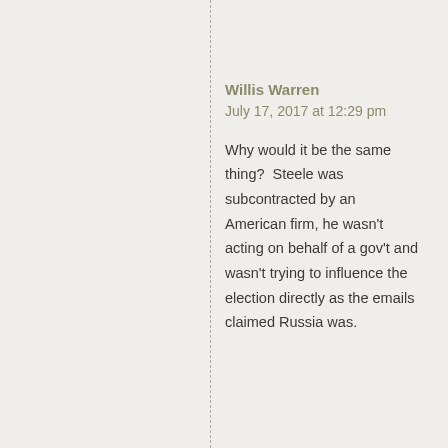Willis Warren
July 17, 2017 at 12:29 pm
Why would it be the same thing?  Steele was subcontracted by an American firm, he wasn't acting on behalf of a gov't and wasn't trying to influence the election directly as the emails claimed Russia was.